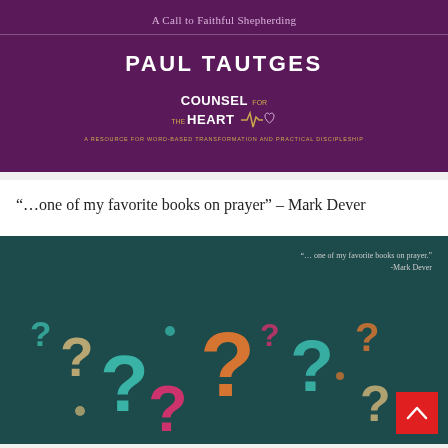[Figure (illustration): Book promotion card with purple background showing 'A Call to Faithful Shepherding' subtitle, author name PAUL TAUTGES, and Counsel for the Heart logo with heartbeat line and heart icon]
“…one of my favorite books on prayer” – Mark Dever
[Figure (illustration): Dark teal promotional book image with quote '… one of my favorite books on prayer.' -Mark Dever and colorful question marks in orange, teal, pink, and beige scattered across the image. Red scroll-to-top button in bottom right corner with white chevron arrow.]